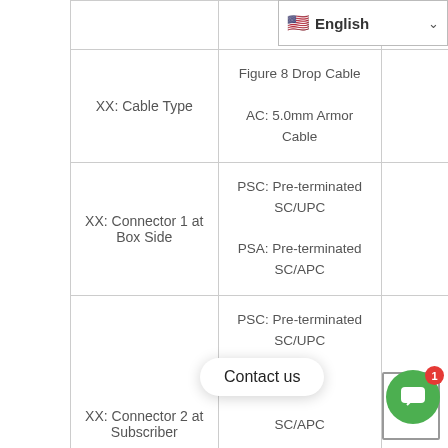[Figure (screenshot): Language selector dropdown showing US flag and 'English' text with chevron]
|  | Description |  |
| --- | --- | --- |
| XX: Cable Type | Figure 8 Drop Cable

AC: 5.0mm Armor Cable |  |
| XX: Connector 1 at Box Side | PSC: Pre-terminated SC/UPC

PSA: Pre-terminated SC/APC |  |
| XX: Connector 2 at Subscriber | PSC: Pre-terminated SC/UPC

PSA: Pre-terminated SC/APC |  |
[Figure (screenshot): Contact us popup button and green chat widget with badge showing 1]